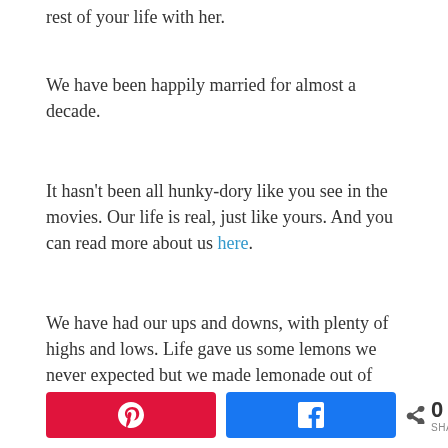rest of your life with her.
We have been happily married for almost a decade.
It hasn't been all hunky-dory like you see in the movies. Our life is real, just like yours. And you can read more about us here.
We have had our ups and downs, with plenty of highs and lows. Life gave us some lemons we never expected but we made lemonade out of them.
[Figure (other): Social share bar with Pinterest button, Facebook button, share icon, count 0, and label SHARES]